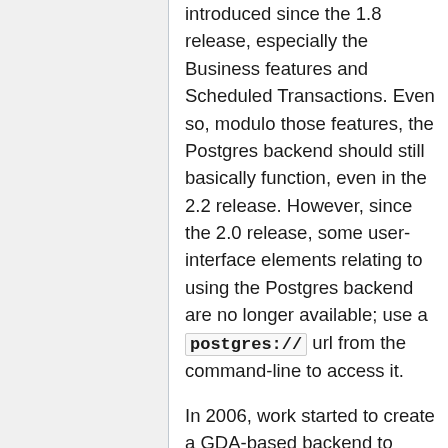introduced since the 1.8 release, especially the Business features and Scheduled Transactions. Even so, modulo those features, the Postgres backend should still basically function, even in the 2.2 release. However, since the 2.0 release, some user-interface elements relating to using the Postgres backend are no longer available; use a postgres:// url from the command-line to access it.
In 2006, work started to create a GDA-based backend to replace the Postgres-specific backend. The GDA backend was replaced with a DBI backend as of 2Q 2008. This DBI backend is what eventually has been released with GnuCash